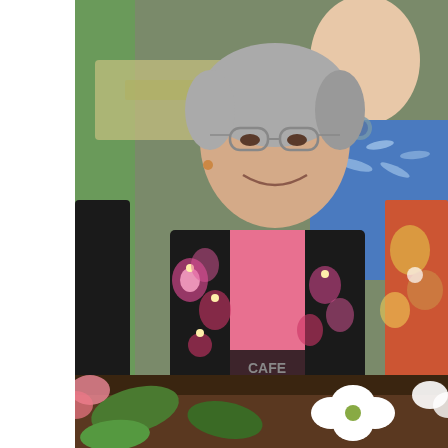[Figure (photo): Two women posing together at Flamingo Row restaurant. The woman in front wears glasses, has short grey hair, and a floral black and pink jacket. Behind her is a woman in a blue top with dragonfly pattern and a colorful patterned vest.]
Girls at Flamingo Row: (l-r)Michele, Yours
Oh, what fun we had!  We were sad to say good-bye to Paducah and our way out of town, we got one last image of the magnificent dogwo
[Figure (photo): Close-up photo of dogwood flowers with white blossoms against a brown/dark background with green leaves.]